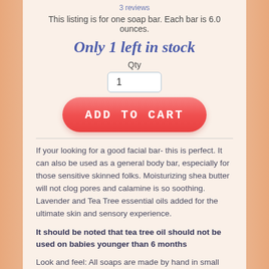3 reviews
This listing is for one soap bar. Each bar is 6.0 ounces.
Only 1 left in stock
Qty
1
ADD TO CART
If your looking for a good facial bar- this is perfect. It can also be used as a general body bar, especially for those sensitive skinned folks. Moisturizing shea butter will not clog pores and calamine is so soothing. Lavender and Tea Tree essential oils added for the ultimate skin and sensory experience.
It should be noted that tea tree oil should not be used on babies younger than 6 months
Look and feel: All soaps are made by hand in small batches with